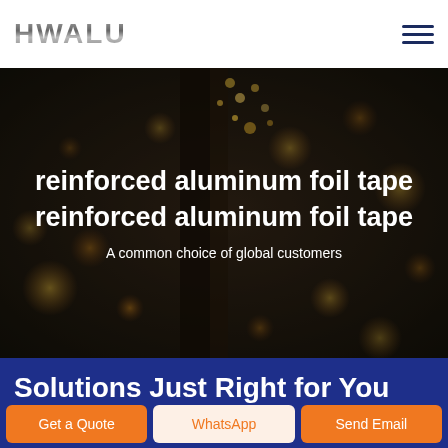HWALU
[Figure (photo): Industrial metalworking background photo showing sparks and bokeh lights in dark warm tones, with overlay text for reinforced aluminum foil tape product]
reinforced aluminum foil tape
reinforced aluminum foil tape
A common choice of global customers
Solutions Just Right for You
Get a Quote
WhatsApp
Send Email